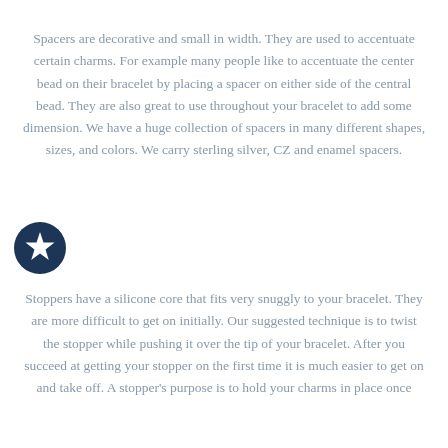Spacers are decorative and small in width. They are used to accentuate certain charms. For example many people like to accentuate the center bead on their bracelet by placing a spacer on either side of the central bead. They are also great to use throughout your bracelet to add some dimension. We have a huge collection of spacers in many different shapes, sizes, and colors. We carry sterling silver, CZ and enamel spacers.
[Figure (illustration): Dark navy circular icon with a white star symbol]
Stoppers have a silicone core that fits very snuggly to your bracelet. They are more difficult to get on initially. Our suggested technique is to twist the stopper while pushing it over the tip of your bracelet. After you succeed at getting your stopper on the first time it is much easier to get on and take off. A stopper's purpose is to hold your charms in place once